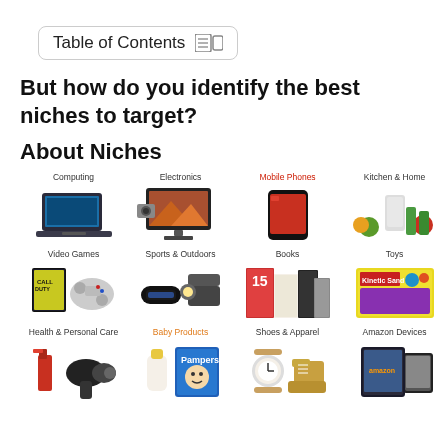Table of Contents
But how do you identify the best niches to target?
About Niches
[Figure (infographic): Amazon product category grid showing 12 niches: Computing, Electronics, Mobile Phones (red), Kitchen & Home, Video Games, Sports & Outdoors, Books, Toys, Health & Personal Care, Baby Products (orange), Shoes & Apparel, Amazon Devices — each with a representative product image]